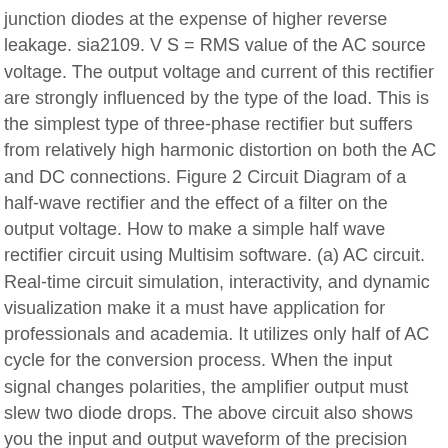junction diodes at the expense of higher reverse leakage. sia2109. V S = RMS value of the AC source voltage. The output voltage and current of this rectifier are strongly influenced by the type of the load. This is the simplest type of three-phase rectifier but suffers from relatively high harmonic distortion on both the AC and DC connections. Figure 2 Circuit Diagram of a half-wave rectifier and the effect of a filter on the output voltage. How to make a simple half wave rectifier circuit using Multisim software. (a) AC circuit. Real-time circuit simulation, interactivity, and dynamic visualization make it a must have application for professionals and academia. It utilizes only half of AC cycle for the conversion process. When the input signal changes polarities, the amplifier output must slew two diode drops. The above circuit also shows you the input and output waveform of the precision rectifier circuit, which is exactly equal to the input. The bridge rectifier consists of 4 diodes in a bridge circuit configuration. Similarly, the average output current is . The above circuit shows a basic, half-wave precision rectifier circuit with an LM358 Op-Amp and a